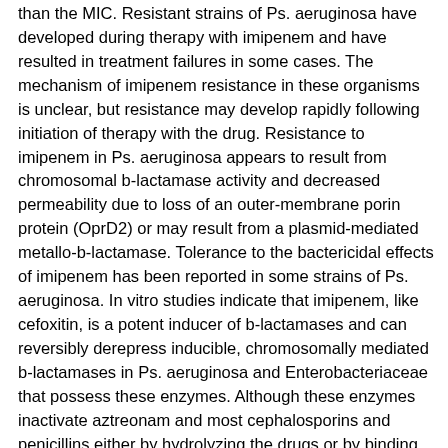than the MIC. Resistant strains of Ps. aeruginosa have developed during therapy with imipenem and have resulted in treatment failures in some cases. The mechanism of imipenem resistance in these organisms is unclear, but resistance may develop rapidly following initiation of therapy with the drug. Resistance to imipenem in Ps. aeruginosa appears to result from chromosomal b-lactamase activity and decreased permeability due to loss of an outer-membrane porin protein (OprD2) or may result from a plasmid-mediated metallo-b-lactamase. Tolerance to the bactericidal effects of imipenem has been reported in some strains of Ps. aeruginosa. In vitro studies indicate that imipenem, like cefoxitin, is a potent inducer of b-lactamases and can reversibly derepress inducible, chromosomally mediated b-lactamases in Ps. aeruginosa and Enterobacteriaceae that possess these enzymes. Although these enzymes inactivate aztreonam and most cephalosporins and penicillins either by hydrolyzing the drugs or by binding to them to prevent access to PBPs, these b-lactamases have no effect on the antibacterial activity of imipenem. (See Drug Interactions: b-Lactam Antibiotics.) Imipenem does not appear to select mutants stably derepressed for b-lactamase production. Cross-resistance generally does not occur between imipenem and other anti-infective agents, including cephalosporins, penicillins, and